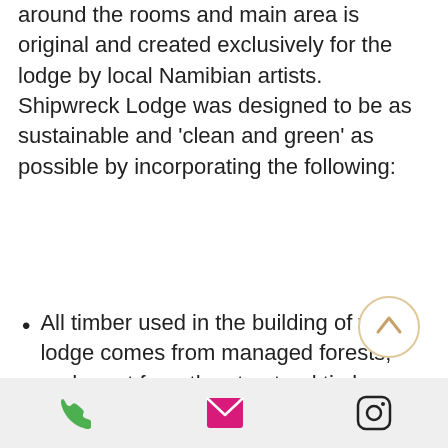around the rooms and main area is original and created exclusively for the lodge by local Namibian artists. Shipwreck Lodge was designed to be as sustainable and 'clean and green' as possible by incorporating the following:
All timber used in the building of the lodge comes from managed forests, and apart from the structural timber, comes from South Africa, the closest source for FSC (Forestry Stewardship Council) certified timber. The doors and window-frames are also timber, and made by a Namibian company.
phone | email | instagram